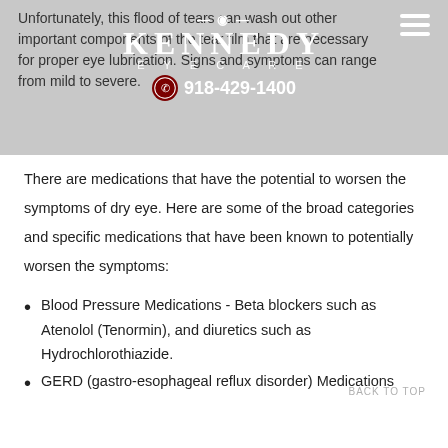[Figure (logo): Kennedy Eyecare logo with eye graphic, phone number 918-429-1400, and WhatsApp icon overlaid on a gray banner. Hamburger menu icon in top right.]
Unfortunately, this flood of tears can wash out other important components of the tear film that are necessary for proper eye lubrication. Signs and symptoms can range from mild to severe.
There are medications that have the potential to worsen the symptoms of dry eye. Here are some of the broad categories and specific medications that have been known to potentially worsen the symptoms:
Blood Pressure Medications - Beta blockers such as Atenolol (Tenormin), and diuretics such as Hydrochlorothiazide.
GERD (gastro-esophageal reflux disorder) Medications